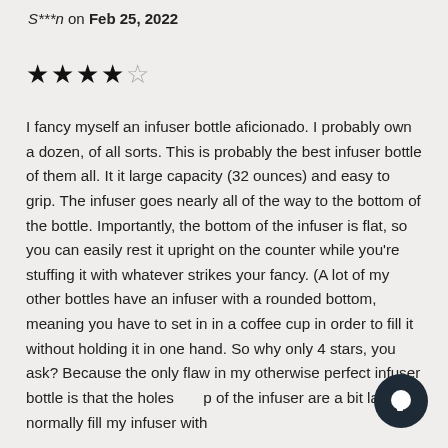S***n on Feb 25, 2022
[Figure (other): 4 out of 5 stars rating]
I fancy myself an infuser bottle aficionado. I probably own a dozen, of all sorts. This is probably the best infuser bottle of them all. It it large capacity (32 ounces) and easy to grip. The infuser goes nearly all of the way to the bottom of the bottle. Importantly, the bottom of the infuser is flat, so you can easily rest it upright on the counter while you're stuffing it with whatever strikes your fancy. (A lot of my other bottles have an infuser with a rounded bottom, meaning you have to set in in a coffee cup in order to fill it without holding it in one hand. So why only 4 stars, you ask? Because the only flaw in my otherwise perfect infuser bottle is that the holes [top] of the infuser are a bit large. I normally fill my infuser with
[Figure (other): Chat/messenger button overlay in bottom right corner]